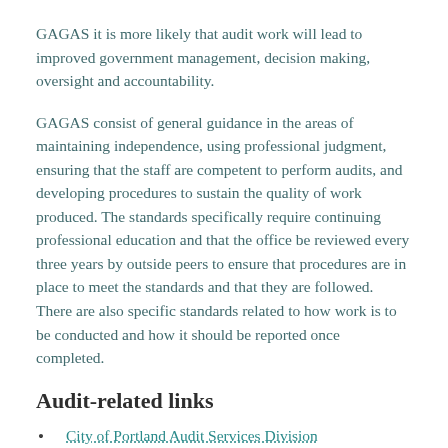GAGAS it is more likely that audit work will lead to improved government management, decision making, oversight and accountability.
GAGAS consist of general guidance in the areas of maintaining independence, using professional judgment, ensuring that the staff are competent to perform audits, and developing procedures to sustain the quality of work produced. The standards specifically require continuing professional education and that the office be reviewed every three years by outside peers to ensure that procedures are in place to meet the standards and that they are followed. There are also specific standards related to how work is to be conducted and how it should be reported once completed.
Audit-related links
City of Portland Audit Services Division